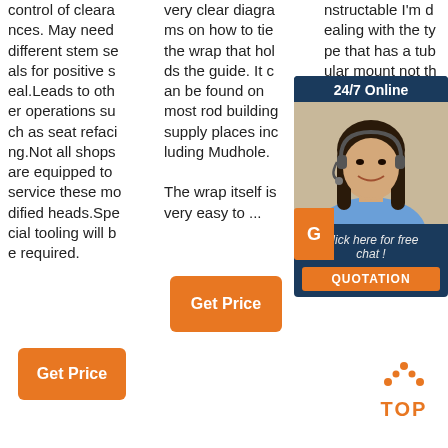control of clearances. May need different stem seals for positive seal.Leads to other operations such as seat refacing.Not all shops are equipped to service these modified heads.Special tooling will be required.
very clear diagrams on how to tie the wrap that holds the guide. It can be found on most rod building supply places including Mudhole.

The wrap itself is very easy to ...
nstructable I'm dealing with the type that has a tubular mount not the w... S... w.in...
[Figure (photo): Chat widget with woman wearing headset, dark blue background, '24/7 Online' header, 'Click here for free chat!' text, orange QUOTATION button]
Get Price
Get Price
[Figure (logo): TOP logo with orange dotted triangle above the word TOP in orange]